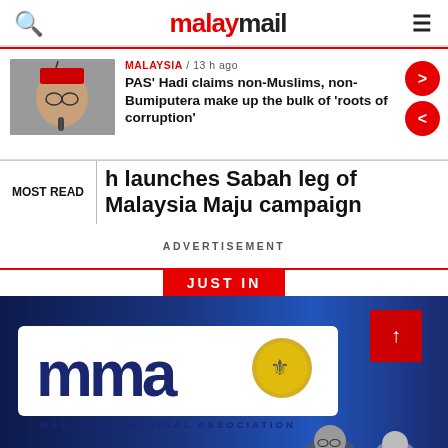malaymail
MALAYSIA / 13 h ago
PAS' Hadi claims non-Muslims, non-Bumiputera make up the bulk of 'roots of corruption'
MOST READ
h launches Sabah leg of Malaysia Maju campaign
ADVERTISEMENT
JUST IN
[Figure (photo): Malaysian Medical Association (MMA) signage in blue and white with the Malaysian coat of arms crest, and people in the background]